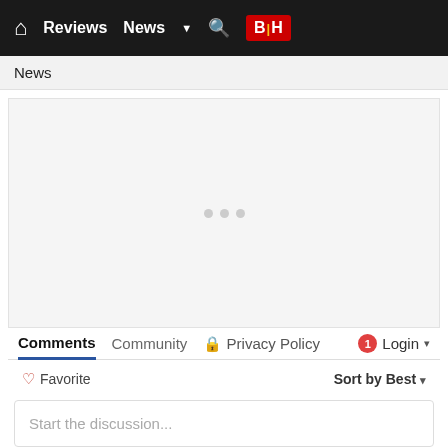Reviews  News  B|H
News
[Figure (other): Empty gray content area with loading dots placeholder]
Comments   Community   Privacy Policy   1   Login
Favorite   Sort by Best
Start the discussion...